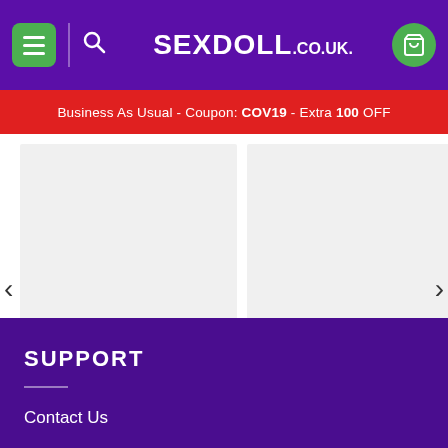SEXDOLL.co.uk - Menu, Search, Cart
Business As Usual - Coupon: COV19 - Extra 100 OFF
[Figure (screenshot): Product listing showing two items: EMMY 165cm #92 Big Eyes Sho (was $2,824.74, now $1,411.78) and Tasha 158cm #63 Russian Love (was $2,589.25, now $1,294.04), with left/right carousel arrows]
SUPPORT
Contact Us